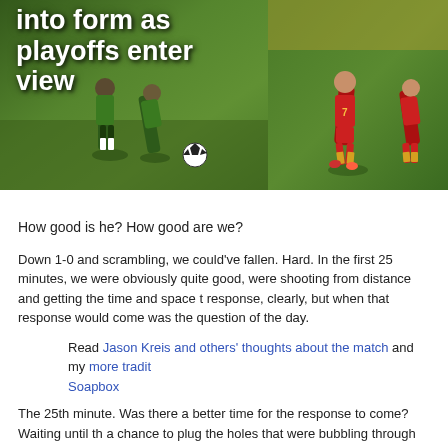[Figure (photo): Two soccer match photos side by side: left shows players in green/white uniforms with a soccer ball on a green field; right shows players in red uniforms running on a field. A large white title text overlays the left photo reading 'into form as playoffs enter view'.]
into form as playoffs enter view
How good is he? How good are we?
Down 1-0 and scrambling, we could've fallen. Hard. In the first 25 minutes, we were obviously quite good, were shooting from distance and getting the time and space to response, clearly, but when that response would come was the question of the day.
Read Jason Kreis and others' thoughts about the match and my more tradit Soapbox
The 25th minute. Was there a better time for the response to come? Waiting until th a chance to plug the holes that were bubbling through their defense. Fabian Espino wasn't alone. Javier Morales, Alvaro Saborio — our attacking triumvirate showed vi sum of its parts. That's quite remarkable, too, because those parts are pretty great a